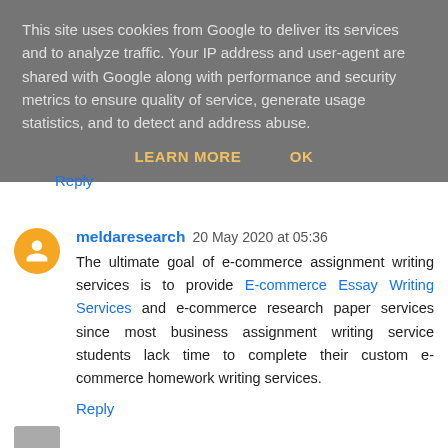This site uses cookies from Google to deliver its services and to analyze traffic. Your IP address and user-agent are shared with Google along with performance and security metrics to ensure quality of service, generate usage statistics, and to detect and address abuse.
LEARN MORE   OK
Reply
meldaresearch  20 May 2020 at 05:36
The ultimate goal of e-commerce assignment writing services is to provide E-commerce Essay Writing Services and e-commerce research paper services since most business assignment writing service students lack time to complete their custom e-commerce homework writing services.
Reply